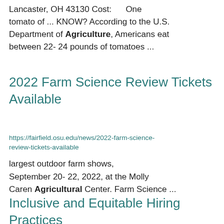Lancaster, OH 43130 Cost: ... One tomato of ... KNOW? According to the U.S. Department of Agriculture, Americans eat between 22- 24 pounds of tomatoes ...
2022 Farm Science Review Tickets Available
https://fairfield.osu.edu/news/2022-farm-science-review-tickets-available
largest outdoor farm shows, September 20- 22, 2022, at the Molly Caren Agricultural Center. Farm Science ...
Inclusive and Equitable Hiring Practices